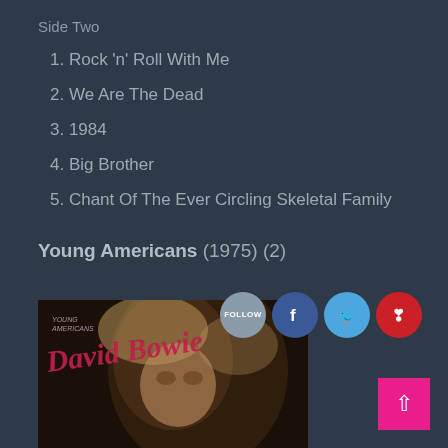Side Two
1. Rock 'n' Roll With Me
2. We Are The Dead
3. 1984
4. Big Brother
5. Chant Of The Ever Circling Skeletal Family
Young Americans (1975) (2)
[Figure (photo): Album cover for Young Americans by David Bowie (1975), showing David Bowie's face with stylized script lettering of the album and artist name.]